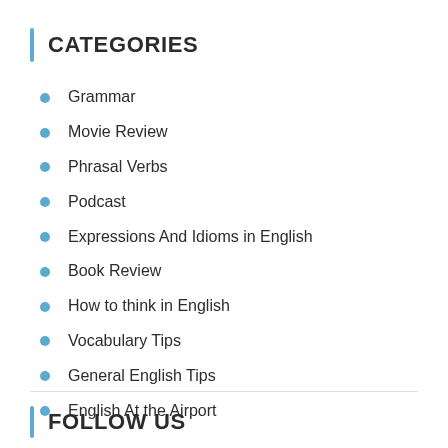CATEGORIES
Grammar
Movie Review
Phrasal Verbs
Podcast
Expressions And Idioms in English
Book Review
How to think in English
Vocabulary Tips
General English Tips
English At the Airport
FOLLOW US